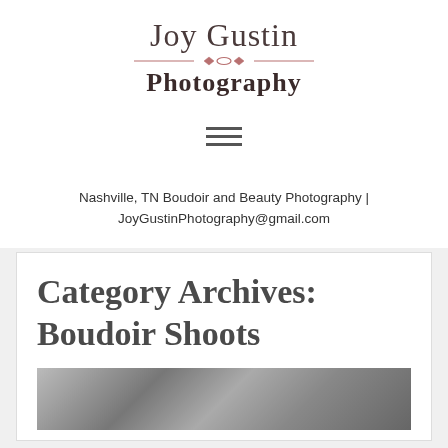Joy Gustin Photography
[Figure (logo): Joy Gustin Photography logo with script text 'Joy Gustin' above a decorative divider and bold text 'Photography' below]
[Figure (other): Hamburger/menu icon with three horizontal lines]
Nashville, TN Boudoir and Beauty Photography | JoyGustinPhotography@gmail.com
Category Archives: Boudoir Shoots
[Figure (photo): Black and white boudoir photograph, partially visible at bottom of page]